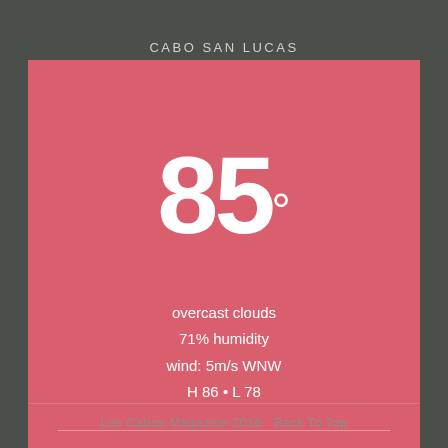CABO SAN LUCAS
85°
overcast clouds
71% humidity
wind: 5m/s WNW
H 86 • L 78
86° WED  88° THU  86° FRI  85° SAT
Weather from OpenWeatherMap
Los Cabos Magazine 2016   Back To Top